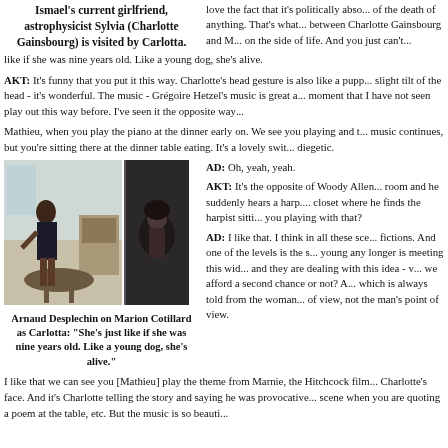Ismael's current girlfriend, astrophysicist Sylvia (Charlotte Gainsbourg) is visited by Carlotta.
love the fact that it's politically abso... of the death of anything. That's what... between Charlotte Gainsbourg and M... on the side of life. And you just can't...
like if she was nine years old. Like a young dog, she's alive.
AKT: It's funny that you put it this way. Charlotte's head gesture is also like a pupp... slight tilt of the head - it's wonderful. The music - Grégoire Hetzel's music is great a... moment that I have not seen play out this way before. I've seen it the opposite way...
Mathieu, when you play the piano at the dinner early on. We see you playing and t... music continues, but you're sitting there at the dinner table eating. It's a lovely swit... diegetic.
[Figure (photo): Two photos side by side: left shows a woman in a dark top in a room interior, right shows a smaller dark artistic photo.]
Arnaud Desplechin on Marion Cotillard as Carlotta: "She's just like if she was nine years old. Like a young dog, she's alive."
AD: Oh, yeah, yeah.
AKT: It's the opposite of Woody Allen... room and he suddenly hears a harp... closet where he finds the harpist sitti... you playing with that?
AD: I like that. I think in all these sce... fictions. And one of the levels is the s... young any longer is meeting this wid... and they are dealing with this idea - v... we afford a second chance or not? A... which is always told from the woman... of view, not the man's point of view.
I like that we can see you [Mathieu] play the theme from Marnie, the Hitchcock film... Charlotte's face. And it's Charlotte telling the story and saying he was provocative... scene when you are quoting a poem at the table, etc. But the music is so beauti...